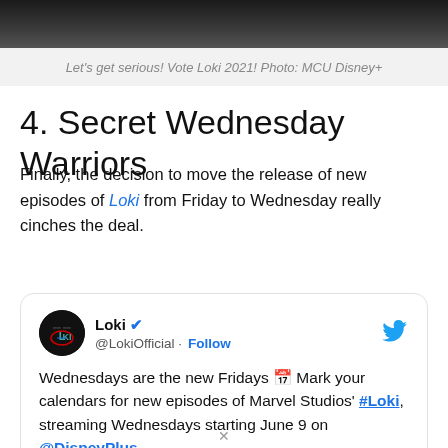[Figure (photo): Dark cinematic still from MCU Loki show, partially cropped at top]
Let's get serious! Vote Loki 2021! Photo: MCU Disney+
4. Secret Wednesday Warriors
Finally, the decision to move the release of new episodes of Loki from Friday to Wednesday really cinches the deal.
[Figure (screenshot): Embedded tweet from @LokiOfficial: Wednesdays are the new Fridays 📅 Mark your calendars for new episodes of Marvel Studios' #Loki, streaming Wednesdays starting June 9 on @DisneyPlus.]